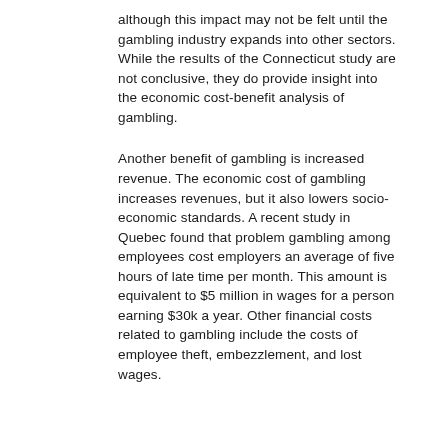although this impact may not be felt until the gambling industry expands into other sectors. While the results of the Connecticut study are not conclusive, they do provide insight into the economic cost-benefit analysis of gambling.
Another benefit of gambling is increased revenue. The economic cost of gambling increases revenues, but it also lowers socio-economic standards. A recent study in Quebec found that problem gambling among employees cost employers an average of five hours of late time per month. This amount is equivalent to $5 million in wages for a person earning $30k a year. Other financial costs related to gambling include the costs of employee theft, embezzlement, and lost wages.